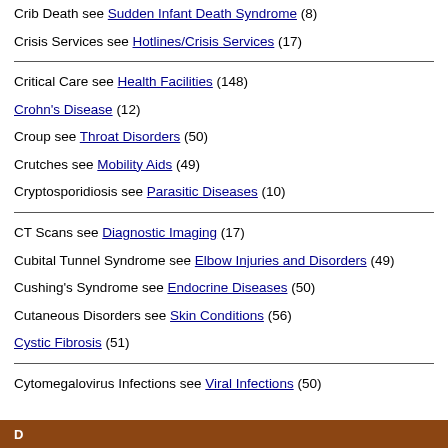Crib Death see Sudden Infant Death Syndrome (8)
Crisis Services see Hotlines/Crisis Services (17)
Critical Care see Health Facilities (148)
Crohn's Disease (12)
Croup see Throat Disorders (50)
Crutches see Mobility Aids (49)
Cryptosporidiosis see Parasitic Diseases (10)
CT Scans see Diagnostic Imaging (17)
Cubital Tunnel Syndrome see Elbow Injuries and Disorders (49)
Cushing's Syndrome see Endocrine Diseases (50)
Cutaneous Disorders see Skin Conditions (56)
Cystic Fibrosis (51)
Cytomegalovirus Infections see Viral Infections (50)